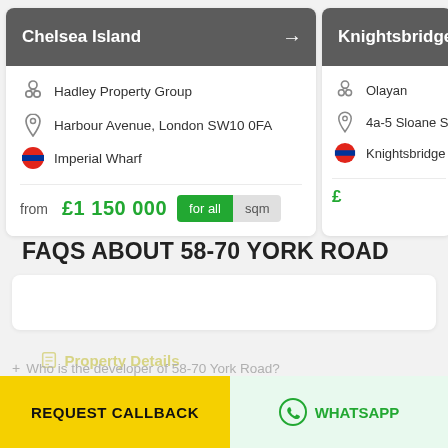[Figure (screenshot): Property card for Chelsea Island showing developer Hadley Property Group, address Harbour Avenue London SW10 0FA, tube station Imperial Wharf, price from £1 150 000 with for all and sqm toggle buttons]
[Figure (screenshot): Partial property card for Knightsbridge Gardens showing developer Olayan, address 4a-5 Sloane Street, tube station Knightsbridge (partially visible)]
FAQS ABOUT 58-70 YORK ROAD
[Figure (screenshot): White FAQ accordion box, mostly empty visible area]
REQUEST CALLBACK
WHATSAPP
+ Who is the developer of 58-70 York Road?